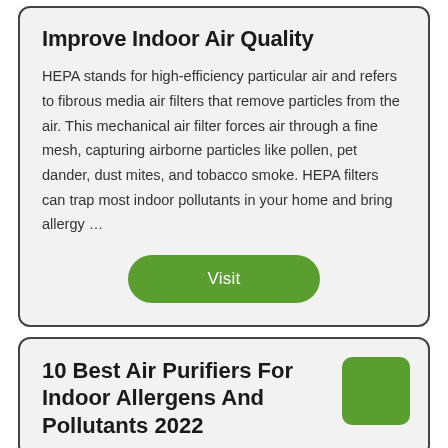Improve Indoor Air Quality
HEPA stands for high-efficiency particular air and refers to fibrous media air filters that remove particles from the air. This mechanical air filter forces air through a fine mesh, capturing airborne particles like pollen, pet dander, dust mites, and tobacco smoke. HEPA filters can trap most indoor pollutants in your home and bring allergy ...
Visit
10 Best Air Purifiers For Indoor Allergens And Pollutants 2022